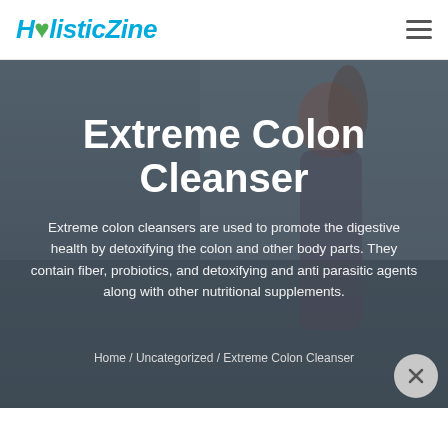HolisticZine
Extreme Colon Cleanser
Extreme colon cleansers are used to promote the digestive health by detoxifying the colon and other body parts. They contain fiber, probiotics, and detoxifying and anti parasitic agents along with other nutritional supplements.
Home / Uncategorized / Extreme Colon Cleanser